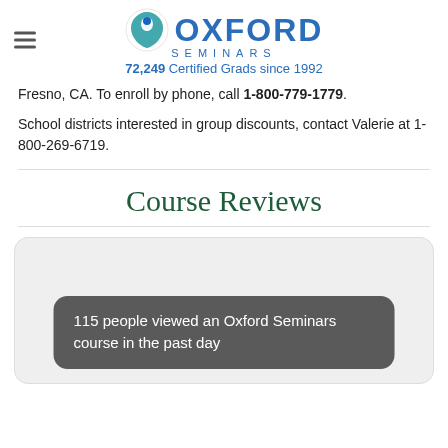Oxford Seminars — 72,249 Certified Grads since 1992
Fresno, CA. To enroll by phone, call 1-800-779-1779.
School districts interested in group discounts, contact Valerie at 1-800-269-6719.
Course Reviews
[Figure (infographic): Light gray rounded card with a dark gray toast notification reading: 115 people viewed an Oxford Seminars course in the past day]